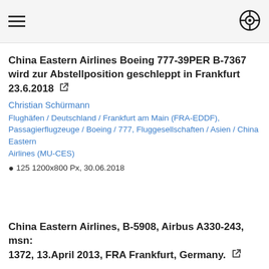China Eastern Airlines Boeing 777-39PER B-7367 wird zur Abstellposition geschleppt in Frankfurt 23.6.2018
Christian Schürmann
Flughäfen / Deutschland / Frankfurt am Main (FRA-EDDF), Passagierflugzeuge / Boeing / 777, Fluggesellschaften / Asien / China Eastern Airlines (MU-CES)
👁 125 1200x800 Px, 30.06.2018
China Eastern Airlines, B-5908, Airbus A330-243, msn: 1372, 13.April 2013, FRA Frankfurt, Germany.